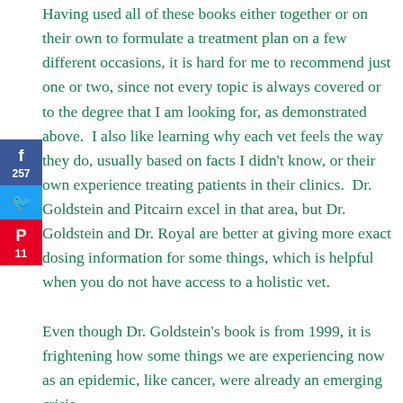Having used all of these books either together or on their own to formulate a treatment plan on a few different occasions, it is hard for me to recommend just one or two, since not every topic is always covered or to the degree that I am looking for, as demonstrated above.  I also like learning why each vet feels the way they do, usually based on facts I didn't know, or their own experience treating patients in their clinics.  Dr. Goldstein and Pitcairn excel in that area, but Dr. Goldstein and Dr. Royal are better at giving more exact dosing information for some things, which is helpful when you do not have access to a holistic vet.
[Figure (infographic): Social sharing sidebar with Facebook (257 shares), Twitter, and Pinterest (11 saves) buttons]
Even though Dr. Goldstein's book is from 1999, it is frightening how some things we are experiencing now as an epidemic, like cancer, were already an emerging crisis